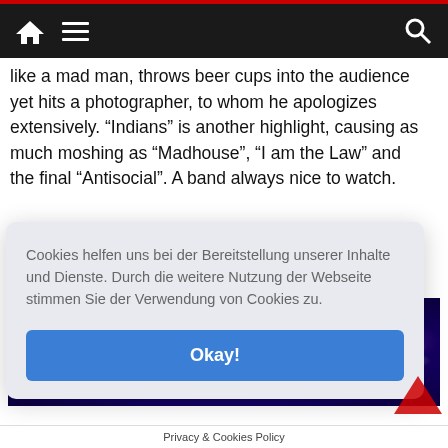Navigation bar with home icon, hamburger menu, and search icon
like a mad man, throws beer cups into the audience yet hits a photographer, to whom he apologizes extensively. “Indians” is another highlight, causing as much moshing as “Madhouse”, “I am the Law” and the final “Antisocial”. A band always nice to watch.
[Figure (photo): Concert stage photo with purple and blue lights and bright spotlight effects]
Cookies helfen uns bei der Bereitstellung unserer Inhalte und Dienste. Durch die weitere Nutzung der Webseite stimmen Sie der Verwendung von Cookies zu.
Okay!
Privacy & Cookies Policy